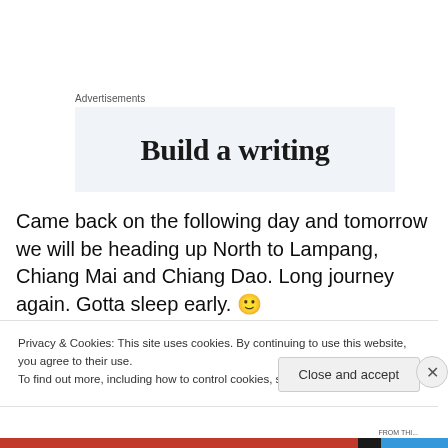Advertisements
[Figure (other): Advertisement banner with light blue-grey background showing text 'Build a writing']
Came back on the following day and tomorrow we will be heading up North to Lampang, Chiang Mai and Chiang Dao. Long journey again. Gotta sleep early. 🙂
Privacy & Cookies: This site uses cookies. By continuing to use this website, you agree to their use.
To find out more, including how to control cookies, see here: Cookie Policy
Close and accept